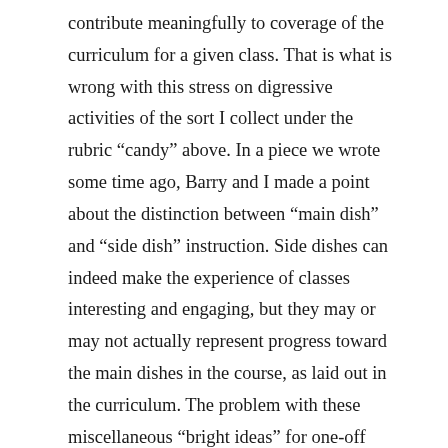contribute meaningfully to coverage of the curriculum for a given class. That is what is wrong with this stress on digressive activities of the sort I collect under the rubric “candy” above. In a piece we wrote some time ago, Barry and I made a point about the distinction between “main dish” and “side dish” instruction. Side dishes can indeed make the experience of classes interesting and engaging, but they may or may not actually represent progress toward the main dishes in the course, as laid out in the curriculum. The problem with these miscellaneous “bright ideas” for one-off lessons you find on the internet for free or offered by these mercenary